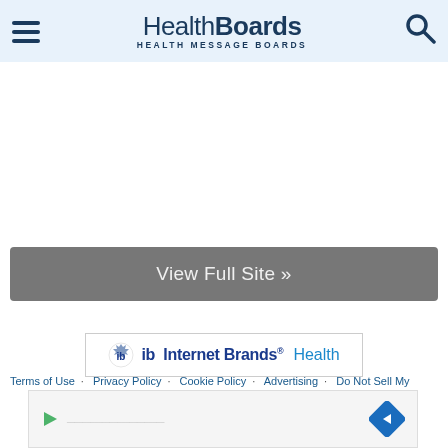HealthBoards HEALTH MESSAGE BOARDS
View Full Site »
[Figure (logo): Internet Brands Health logo with gear-and-b icon]
© 2022 MH Sub I, LLC dba Internet Brands. All rights reserved. Do not copy or redistribute in any form!
Terms of Use · Privacy Policy · Cookie Policy · Advertising · Do Not Sell My
[Figure (screenshot): Advertisement banner at bottom of page with play icon and navigation diamond]